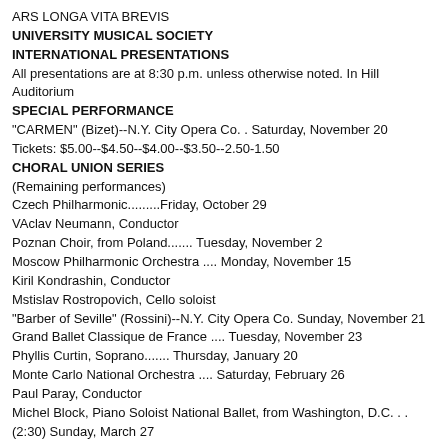ARS LONGA VITA BREVIS
UNIVERSITY MUSICAL SOCIETY
INTERNATIONAL PRESENTATIONS
All presentations are at 8:30 p.m. unless otherwise noted. In Hill Auditorium
SPECIAL PERFORMANCE
"CARMEN" (Bizet)--N.Y. City Opera Co. . Saturday, November 20
Tickets: $5.00--$4.50--$4.00--$3.50--2.50-1.50
CHORAL UNION SERIES
(Remaining performances)
Czech Philharmonic.........Friday, October 29
VAclav Neumann, Conductor
Poznan Choir, from Poland....... Tuesday, November 2
Moscow Philharmonic Orchestra .... Monday, November 15
Kiril Kondrashin, Conductor
Mstislav Rostropovich, Cello soloist
"Barber of Seville" (Rossini)--N.Y. City Opera Co. Sunday, November 21
Grand Ballet Classique de France .... Tuesday, November 23
Phyllis Curtin, Soprano....... Thursday, January 20
Monte Carlo National Orchestra .... Saturday, February 26
Paul Paray, Conductor
Michel Block, Piano Soloist National Ballet, from Washington, D.C. . . (2:30) Sunday, March 27